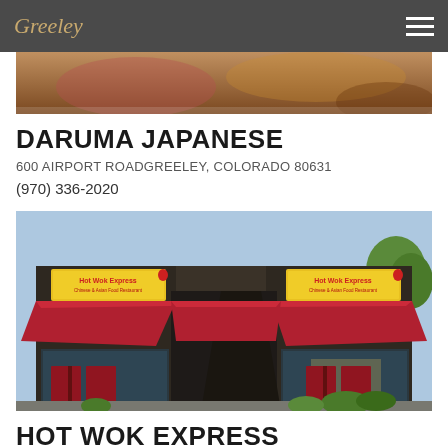Greeley
[Figure (photo): Partial top image of a restaurant interior, cropped]
DARUMA JAPANESE
600 AIRPORT ROADGREELEY, COLORADO 80631
(970) 336-2020
[Figure (photo): Exterior photo of Hot Wok Express restaurant with dark stone facade, red metal awning/roof, yellow signs reading 'Hot Wok Express', and red entry doors]
HOT WOK EXPRESS